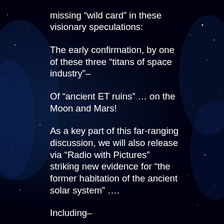missing “wild card” in these visionary speculations:
The early confirmation, by one of these three “titans of space industry”–
Of “ancient ET ruins” … on the Moon and Mars!
As a key part of this far-ranging discussion, we will also release via “Radio with Pictures” striking new evidence for “the former habitation of the ancient solar system” ….
Including–